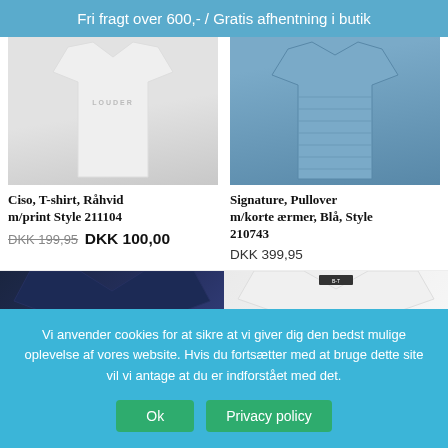Fri fragt over 600,- / Gratis afhentning i butik
[Figure (photo): White t-shirt with 'LOUDER' text print, cropped product photo]
Ciso, T-shirt, Råhvid m/print Style 211104
DKK 199,95 DKK 100,00
[Figure (photo): Blue pullover with short sleeves, ribbed fabric, cropped product photo]
Signature, Pullover m/korte ærmer, Blå, Style 210743
DKK 399,95
[Figure (photo): Dark navy blue v-neck pullover with pattern, cropped product photo]
[Figure (photo): White sweatshirt with cursive text, cropped product photo]
Vi anvender cookies for at sikre at vi giver dig den bedst mulige oplevelse af vores website. Hvis du fortsætter med at bruge dette site vil vi antage at du er indforstået med det.
Ok  Privacy policy